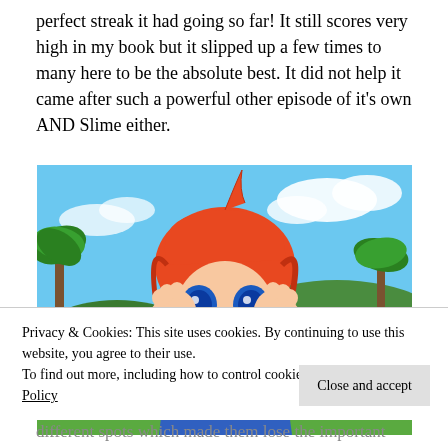perfect streak it had going so far! It still scores very high in my book but it slipped up a few times to many here to be the absolute best. It did not help it came after such a powerful other episode of it's own AND Slime either.
[Figure (illustration): Anime screenshot of a red-haired girl in a blue sailor uniform with hands on her cheeks in a shocked expression, set against a tropical beach background with palm trees, sky, and green hills.]
Privacy & Cookies: This site uses cookies. By continuing to use this website, you agree to their use.
To find out more, including how to control cookies, see here: Cookie Policy
Close and accept
different spots which made them lose the important